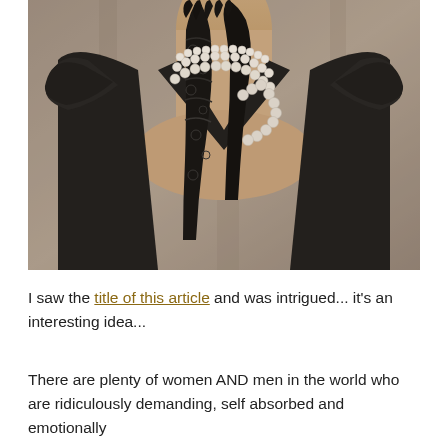[Figure (photo): A woman in a black dress wearing multiple strands of white pearl necklaces, with a black lace glove raised near her neck/face. The image is cropped to show only the neck and torso area. Sepia/vintage tone.]
I saw the title of this article and was intrigued... it's an interesting idea...
There are plenty of women AND men in the world who are ridiculously demanding, self absorbed and emotionally